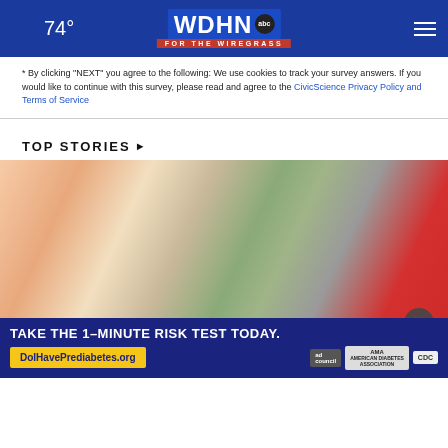WDHN ABC FOR THE WIREGRASS — 74°
* By clicking "NEXT" you agree to the following: We use cookies to track your survey answers. If you would like to continue with this survey, please read and agree to the CivicScience Privacy Policy and Terms of Service
TOP STORIES ›
[Figure (photo): Photo of a young child with blonde hair wearing a yellow shirt, reaching out toward another person in a red shirt, blurred outdoor background]
TAKE THE 1-MINUTE RISK TEST TODAY. DolHavePrediabetes.org